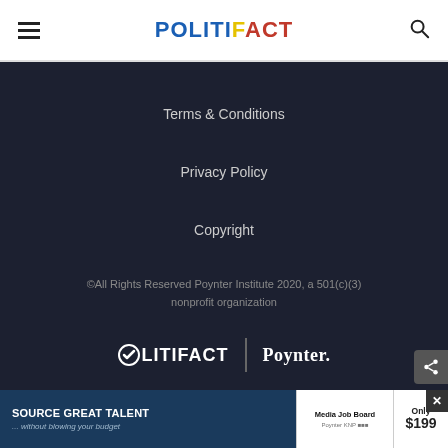PolitiFact
Terms & Conditions
Privacy Policy
Copyright
©All Rights Reserved Poynter Institute 2020, a 501(c)(3) nonprofit organization
[Figure (logo): PolitiFact and Poynter logos in white on dark background]
[Figure (infographic): Advertisement banner: SOURCE GREAT TALENT ...without blowing your budget / Media Job Board / Only $199]